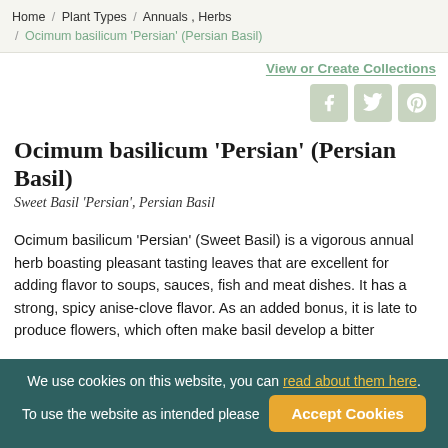Home / Plant Types / Annuals , Herbs / Ocimum basilicum 'Persian' (Persian Basil)
View or Create Collections
Ocimum basilicum 'Persian' (Persian Basil)
Sweet Basil 'Persian', Persian Basil
Ocimum basilicum 'Persian' (Sweet Basil) is a vigorous annual herb boasting pleasant tasting leaves that are excellent for adding flavor to soups, sauces, fish and meat dishes. It has a strong, spicy anise-clove flavor. As an added bonus, it is late to produce flowers, which often make basil develop a bitter
We use cookies on this website, you can read about them here. To use the website as intended please Accept Cookies.